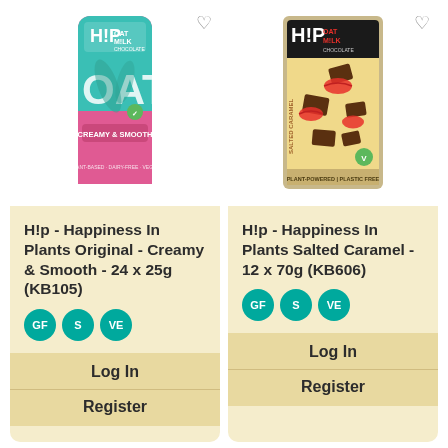[Figure (photo): H!P Oat Milk Chocolate bar – Original Creamy & Smooth, pink and teal packaging, mini bar]
H!p - Happiness In Plants Original - Creamy & Smooth - 24 x 25g (KB105)
[Figure (infographic): Badges: GF, S, VE (teal circles)]
Log In
Register
[Figure (photo): H!P Oat Milk Chocolate bar – Salted Caramel, yellow/cream packaging, tablet bar]
H!p - Happiness In Plants Salted Caramel - 12 x 70g (KB606)
[Figure (infographic): Badges: GF, S, VE (teal circles)]
Log In
Register